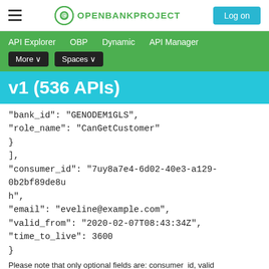OpenBankProject — Log on
API Explorer  OBP  Dynamic  API Manager  More  Spaces
v1 (536 APIs)
"bank_id": "GENODEM1GLS",
"role_name": "CanGetCustomer"
}
],
"consumer_id": "7uy8a7e4-6d02-40e3-a129-0b2bf89de8uh",
"email": "eveline@example.com",
"valid_from": "2020-02-07T08:43:34Z",
"time_to_live": 3600
}
Please note that only optional fields are: consumer_id, valid